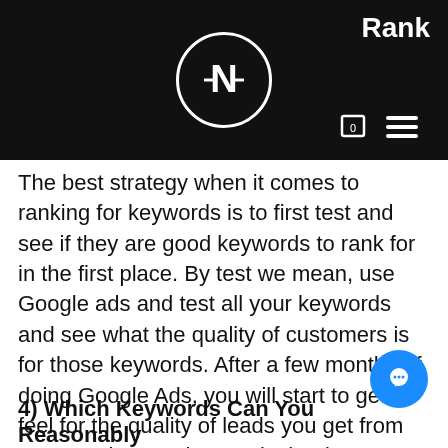Rank
The best strategy when it comes to ranking for keywords is to first test and see if they are good keywords to rank for in the first place. By test we mean, use Google ads and test all your keywords and see what the quality of customers is for those keywords. After a few months of doing Google Ads, you will start to get a feel for the quality of leads you get from your test keywords, now is the time to start working on ranking those keywords that generated the best results. You want to test with Google AdWords first and then scale with SEO.
4) Which Keywords Can You Reasonably